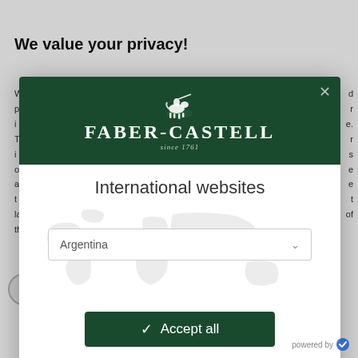We value your privacy!
W... d p... r i... e. T... r i... s o... e a... e t... t l... f th...
[Figure (screenshot): Faber-Castell international website selector modal overlay. Dark green header with Faber-Castell logo (knight on horse, company name, 'since 1761'), 'International websites' heading, world map background, Argentina dropdown selector, Accept all button, Privacy notice and Legal notice links, powered by badge.]
International websites
Argentina
Accept all
Privacy notice | Legal notice
powered by